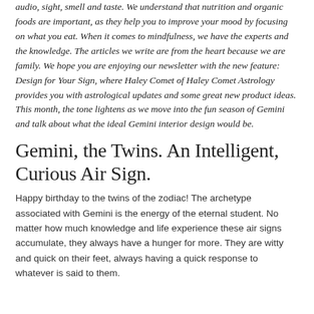audio, sight, smell and taste. We understand that nutrition and organic foods are important, as they help you to improve your mood by focusing on what you eat. When it comes to mindfulness, we have the experts and the knowledge. The articles we write are from the heart because we are family. We hope you are enjoying our newsletter with the new feature: Design for Your Sign, where Haley Comet of Haley Comet Astrology provides you with astrological updates and some great new product ideas. This month, the tone lightens as we move into the fun season of Gemini and talk about what the ideal Gemini interior design would be.
Gemini, the Twins. An Intelligent, Curious Air Sign.
Happy birthday to the twins of the zodiac! The archetype associated with Gemini is the energy of the eternal student. No matter how much knowledge and life experience these air signs accumulate, they always have a hunger for more. They are witty and quick on their feet, always having a quick response to whatever is said to them.